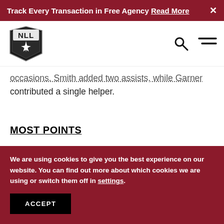Track Every Transaction in Free Agency Read More ×
[Figure (logo): NLL (National Lacrosse League) shield logo with star/compass design in black and white]
occasions. Smith added two assists, while Garner contributed a single helper.
MOST POINTS
We are using cookies to give you the best experience on our website. You can find out more about which cookies we are using or switch them off in settings.
ACCEPT